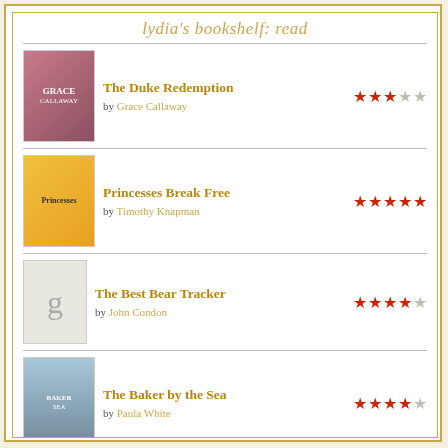lydia's bookshelf: read
The Duke Redemption by Grace Callaway — 3 stars
Princesses Break Free by Timothy Knapman — 5 stars
The Best Bear Tracker by John Condon — 4.5 stars
The Baker by the Sea by Paula White — 4.5 stars
The Syren's Mutiny by Jessica S. Taylor — 3 stars
[Figure (logo): Goodreads logo in a rounded rectangle box]